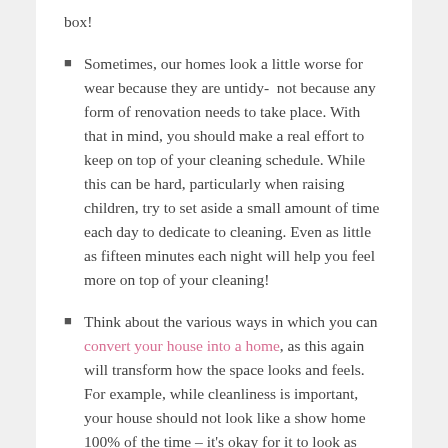box!
Sometimes, our homes look a little worse for wear because they are untidy-  not because any form of renovation needs to take place. With that in mind, you should make a real effort to keep on top of your cleaning schedule. While this can be hard, particularly when raising children, try to set aside a small amount of time each day to dedicate to cleaning. Even as little as fifteen minutes each night will help you feel more on top of your cleaning!
Think about the various ways in which you can convert your house into a home, as this again will transform how the space looks and feels. For example, while cleanliness is important, your house should not look like a show home 100% of the time – it's okay for it to look as though people